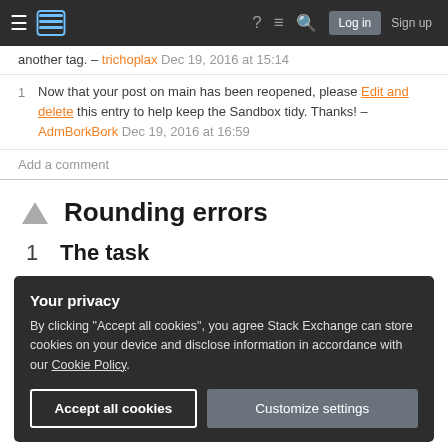Stack Exchange navigation bar with hamburger menu, logo, help, chat, search, Log in, Sign up
another tag. – trichoplax Dec 19, 2016 at 15:14
1  Now that your post on main has been reopened, please Edit and delete this entry to help keep the Sandbox tidy. Thanks! – AdmBorkBork Dec 19, 2016 at 16:59
Add a comment
Rounding errors
1  The task
Your privacy
By clicking "Accept all cookies", you agree Stack Exchange can store cookies on your device and disclose information in accordance with our Cookie Policy.
Accept all cookies
Customize settings